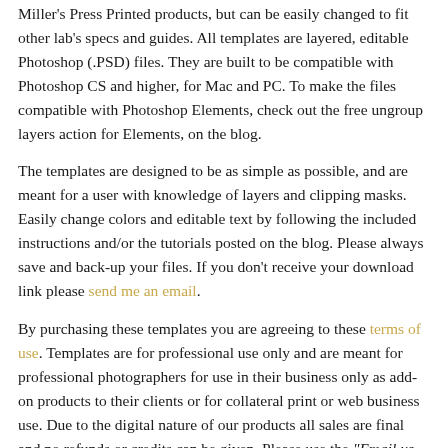Miller's Press Printed products, but can be easily changed to fit other lab's specs and guides. All templates are layered, editable Photoshop (.PSD) files. They are built to be compatible with Photoshop CS and higher, for Mac and PC. To make the files compatible with Photoshop Elements, check out the free ungroup layers action for Elements, on the blog.
The templates are designed to be as simple as possible, and are meant for a user with knowledge of layers and clipping masks. Easily change colors and editable text by following the included instructions and/or the tutorials posted on the blog. Please always save and back-up your files. If you don't receive your download link please send me an email.
By purchasing these templates you are agreeing to these terms of use. Templates are for professional use only and are meant for professional photographers for use in their business only as add-on products to their clients or for collateral print or web business use. Due to the digital nature of our products all sales are final and no refunds or credits can be given. Please use the "Email us about this product" link to the left, under the product images, to ask any